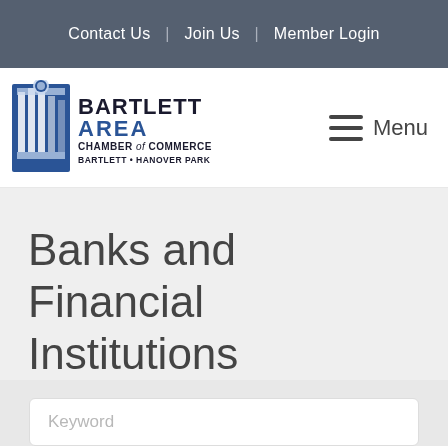Contact Us | Join Us | Member Login
[Figure (logo): Bartlett Area Chamber of Commerce logo — blue column graphic with text BARTLETT AREA CHAMBER of COMMERCE BARTLETT • HANOVER PARK]
Menu
Banks and Financial Institutions
Keyword